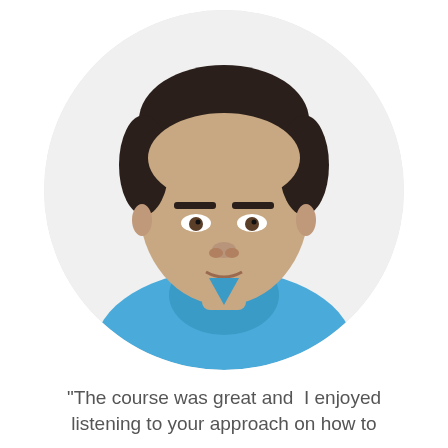[Figure (photo): Circular cropped headshot photo of a young man with short dark hair wearing a blue polo shirt, white background]
"The course was great and  I enjoyed listening to your approach on how to